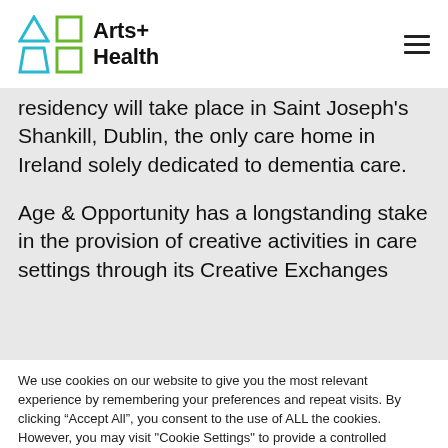Arts+ Health
residency will take place in Saint Joseph's Shankill, Dublin, the only care home in Ireland solely dedicated to dementia care.
Age & Opportunity has a longstanding stake in the provision of creative activities in care settings through its Creative Exchanges
We use cookies on our website to give you the most relevant experience by remembering your preferences and repeat visits. By clicking "Accept All", you consent to the use of ALL the cookies. However, you may visit "Cookie Settings" to provide a controlled consent.
Cookie Settings
Accept All